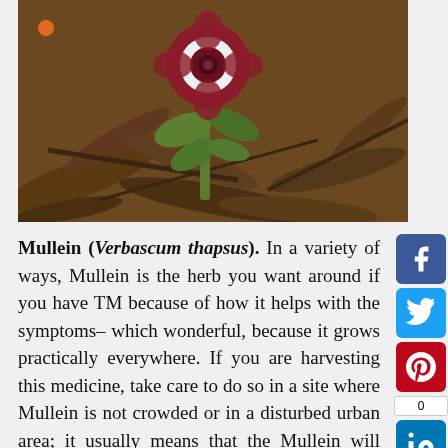[Figure (photo): A plant with a dark red/maroon flower with white center growing among dry brown leaves on the ground. This is a Mullein (Verbascum thapsus) plant.]
Mullein (Verbascum thapsus). In a variety of ways, Mullein is the herb you want around if you have TM because of how it helps with the symptoms- which wonderful, because it grows practically everywhere. If you are harvesting this medicine, take care to do so in a site where Mullein is not crowded or in a disturbed urban area; it usually means that the Mullein will contain a high level of pollutants. The